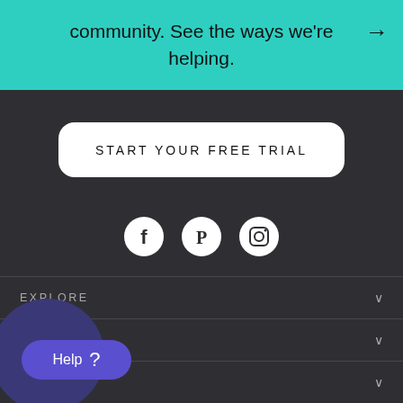community. See the ways we're helping.
→
START YOUR FREE TRIAL
[Figure (illustration): Social media icons: Facebook, Pinterest, Instagram in white circles on dark background]
EXPLORE
ABOUT US
SHOP
Help ?